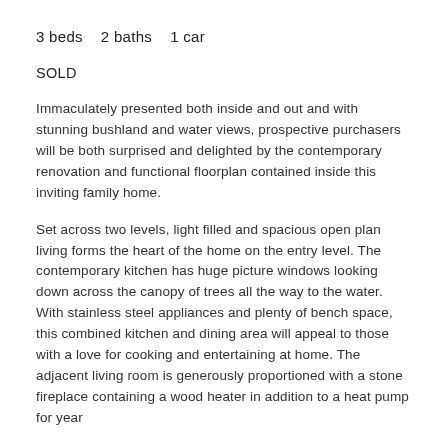3 beds   2 baths   1 car
SOLD
Immaculately presented both inside and out and with stunning bushland and water views, prospective purchasers will be both surprised and delighted by the contemporary renovation and functional floorplan contained inside this inviting family home.
Set across two levels, light filled and spacious open plan living forms the heart of the home on the entry level. The contemporary kitchen has huge picture windows looking down across the canopy of trees all the way to the water. With stainless steel appliances and plenty of bench space, this combined kitchen and dining area will appeal to those with a love for cooking and entertaining at home. The adjacent living room is generously proportioned with a stone fireplace containing a wood heater in addition to a heat pump for year